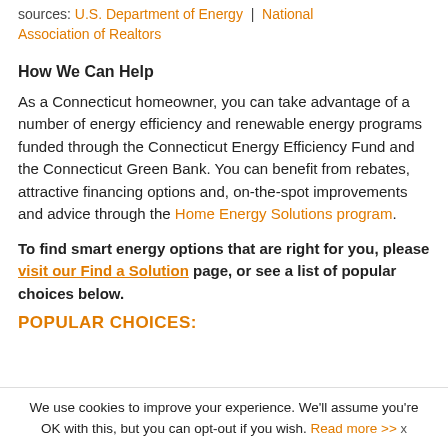Sources: U.S. Department of Energy | National Association of Realtors
How We Can Help
As a Connecticut homeowner, you can take advantage of a number of energy efficiency and renewable energy programs funded through the Connecticut Energy Efficiency Fund and the Connecticut Green Bank. You can benefit from rebates, attractive financing options and, on-the-spot improvements and advice through the Home Energy Solutions program.
To find smart energy options that are right for you, please visit our Find a Solution page, or see a list of popular choices below.
POPULAR CHOICES:
We use cookies to improve your experience. We'll assume you're OK with this, but you can opt-out if you wish. Read more >>